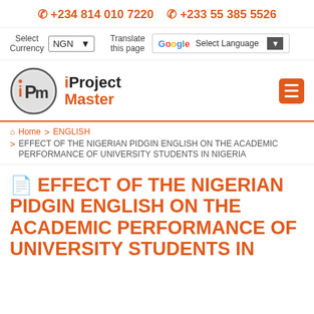+234 814 010 7220  +233 55 385 5526
Select Currency  NGN  Translate this page  Select Language
[Figure (logo): iProject Master logo: circular IPM emblem with i in orange, P and M in dark letters, alongside bold text iProject Master]
Home > ENGLISH > EFFECT OF THE NIGERIAN PIDGIN ENGLISH ON THE ACADEMIC PERFORMANCE OF UNIVERSITY STUDENTS IN NIGERIA
EFFECT OF THE NIGERIAN PIDGIN ENGLISH ON THE ACADEMIC PERFORMANCE OF UNIVERSITY STUDENTS IN